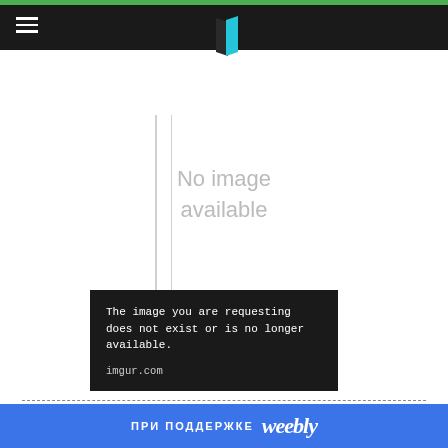Navigation bar with hamburger menu and book logo
[Figure (illustration): No image available placeholder with vertical lines and book icon]
[Figure (screenshot): Imgur error box: 'The image you are requesting does not exist or is no longer available. imgur.com']
Author: H A Ironside
Page Count: 162 pages
Published Date: 23 Apr 2016
ПРИ ПОДДЕРЖКЕ weebly